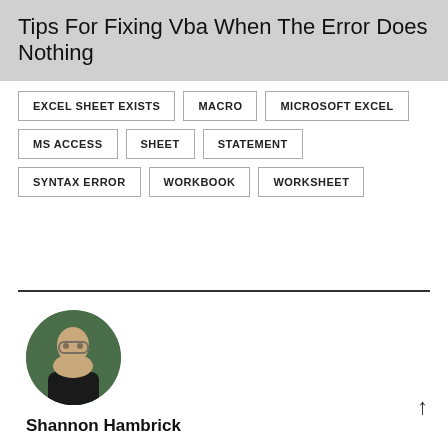Tips For Fixing Vba When The Error Does Nothing
EXCEL SHEET EXISTS
MACRO
MICROSOFT EXCEL
MS ACCESS
SHEET
STATEMENT
SYNTAX ERROR
WORKBOOK
WORKSHEET
[Figure (photo): Circular profile photo of Shannon Hambrick, a person wearing glasses and a dark shirt with colorful design, against a green leafy background]
Shannon Hambrick